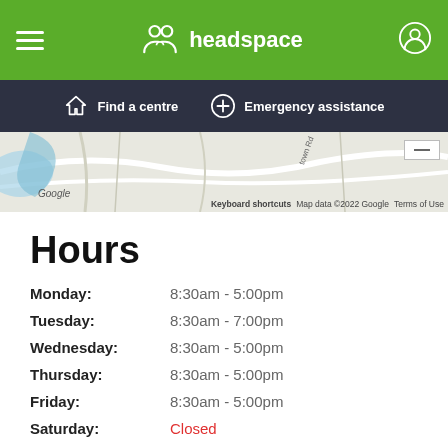headspace
Find a centre | Emergency assistance
[Figure (screenshot): Google Maps partial view showing street map with blue water features. Bottom bar shows: Keyboard shortcuts | Map data ©2022 Google | Terms of Use]
Hours
| Day | Hours |
| --- | --- |
| Monday: | 8:30am - 5:00pm |
| Tuesday: | 8:30am - 7:00pm |
| Wednesday: | 8:30am - 5:00pm |
| Thursday: | 8:30am - 5:00pm |
| Friday: | 8:30am - 5:00pm |
| Saturday: | Closed |